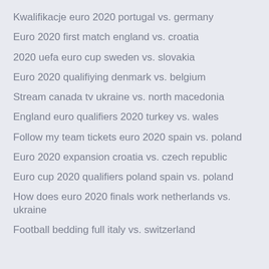Kwalifikacje euro 2020 portugal vs. germany
Euro 2020 first match england vs. croatia
2020 uefa euro cup sweden vs. slovakia
Euro 2020 qualifiying denmark vs. belgium
Stream canada tv ukraine vs. north macedonia
England euro qualifiers 2020 turkey vs. wales
Follow my team tickets euro 2020 spain vs. poland
Euro 2020 expansion croatia vs. czech republic
Euro cup 2020 qualifiers poland spain vs. poland
How does euro 2020 finals work netherlands vs. ukraine
Football bedding full italy vs. switzerland